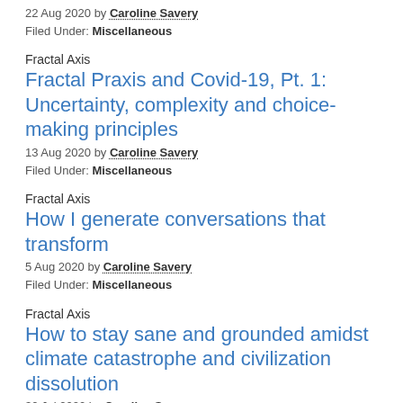22 Aug 2020 by Caroline Savery
Filed Under: Miscellaneous
Fractal Axis
Fractal Praxis and Covid-19, Pt. 1: Uncertainty, complexity and choice-making principles
13 Aug 2020 by Caroline Savery
Filed Under: Miscellaneous
Fractal Axis
How I generate conversations that transform
5 Aug 2020 by Caroline Savery
Filed Under: Miscellaneous
Fractal Axis
How to stay sane and grounded amidst climate catastrophe and civilization dissolution
30 Jul 2020 by Caroline Savery
Filed Under: Miscellaneous